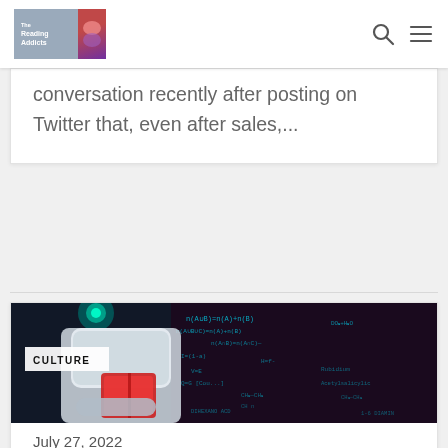Reading Addicts — navigation header with logo and search/menu icons
conversation recently after posting on Twitter that, even after sales,...
[Figure (photo): AI robot humanoid reading a book with chemistry/math equations on a dark background. CULTURE badge overlaid in top-left area.]
July 27, 2022